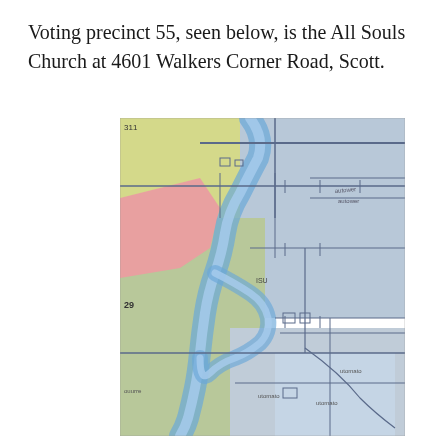Voting precinct 55, seen below, is the All Souls Church at 4601 Walkers Corner Road, Scott.
[Figure (map): A voting precinct map showing precinct 55 area near Scott, with a winding river (shown in light blue), road networks, and colored regions including yellow-green, pink/red, and light blue/grey shaded areas. Labels visible include route numbers such as 29 and 311.]